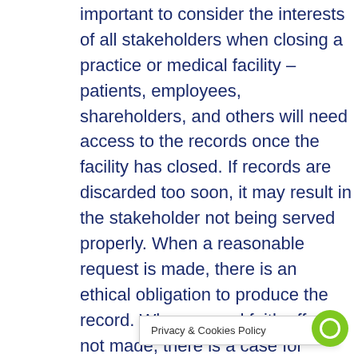important to consider the interests of all stakeholders when closing a practice or medical facility – patients, employees, shareholders, and others will need access to the records once the facility has closed. If records are discarded too soon, it may result in the stakeholder not being served properly. When a reasonable request is made, there is an ethical obligation to produce the record. When a good faith effort is not made, there is a case for incompetence or neglect.
The first step in determining how long to keep your medical records is to identify the records that you have. Ther... the
Privacy & Cookies Policy